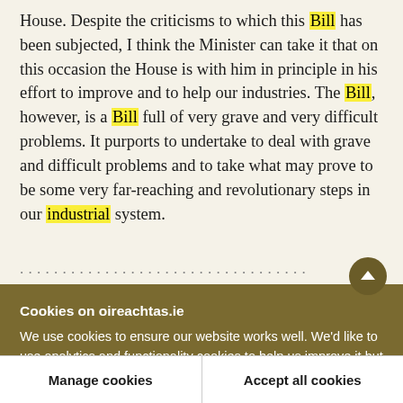House. Despite the criticisms to which this Bill has been subjected, I think the Minister can take it that on this occasion the House is with him in principle in his effort to improve and to help our industries. The Bill, however, is a Bill full of very grave and very difficult problems. It purports to undertake to deal with grave and difficult problems and to take what may prove to be some very far-reaching and revolutionary steps in our industrial system.
[partial line obscured by cookie banner]
Cookies on oireachtas.ie
We use cookies to ensure our website works well. We'd like to use analytics and functionality cookies to help us improve it but we require your consent to do so. If you don't consent, only necessary cookies will be used. Read more about our cookies
Manage cookies
Accept all cookies